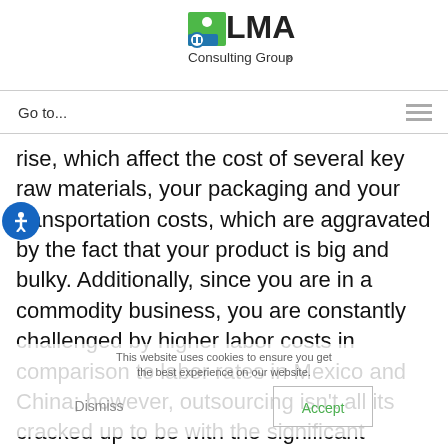[Figure (logo): LMA Consulting Group logo with green square icon and gear/figure emblem, text 'LMA Consulting Group' below]
Go to...
rise, which affect the cost of several key raw materials, your packaging and your transportation costs, which are aggravated by the fact that your product is big and bulky. Additionally, since you are in a commodity business, you are constantly challenged by higher labor costs in comparison to labor rates in Mexico and China; however, outsourcing isn't all its cracked up to be with the significant increases in transportation costs and lead times combined with the hidden costs associated with